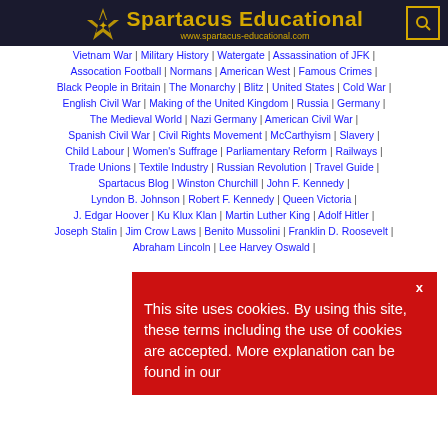Spartacus Educational — www.spartacus-educational.com
Vietnam War | Military History | Watergate | Assassination of JFK | Assocation Football | Normans | American West | Famous Crimes | Black People in Britain | The Monarchy | Blitz | United States | Cold War | English Civil War | Making of the United Kingdom | Russia | Germany | The Medieval World | Nazi Germany | American Civil War | Spanish Civil War | Civil Rights Movement | McCarthyism | Slavery | Child Labour | Women's Suffrage | Parliamentary Reform | Railways | Trade Unions | Textile Industry | Russian Revolution | Travel Guide | Spartacus Blog | Winston Churchill | John F. Kennedy | Lyndon B. Johnson | Robert F. Kennedy | Queen Victoria | J. Edgar Hoover | Ku Klux Klan | Martin Luther King | Adolf Hitler | Joseph Stalin | Jim Crow Laws | Benito Mussolini | Franklin D. Roosevelt | Abraham Lincoln | Lee Harvey Oswald |
This site uses cookies. By using this site, these terms including the use of cookies are accepted. More explanation can be found in our